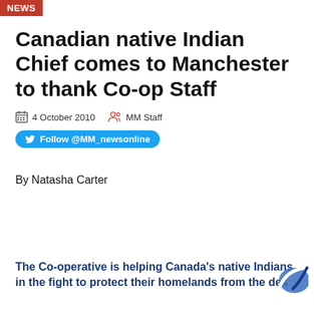NEWS
Canadian native Indian Chief comes to Manchester to thank Co-op Staff
4 October 2010   MM Staff
Follow @MM_newsonline
By Natasha Carter
The Co-operative is helping Canada's native Indians in the fight to protect their homelands from the des…